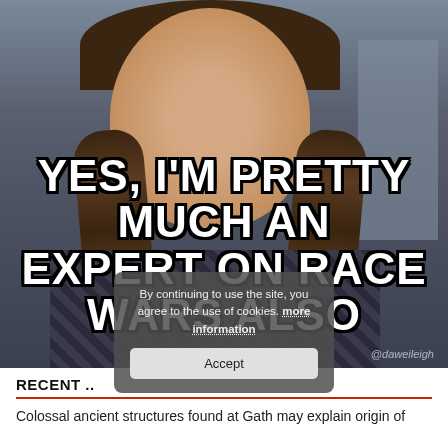[Figure (screenshot): Screenshot of a social media post or video thumbnail showing a young girl with braided hair and a plaid shirt. Overlaid text reads: YES, I'M PRETTY MUCH AN EXPERT ON RACE WARS ALSO. A cookie consent popup overlays the lower portion of the image. Watermark @daweileigh visible in bottom right.]
By continuing to use the site, you agree to the use of cookies. more information
Accept
RECENT ..
Colossal ancient structures found at Gath may explain origin of